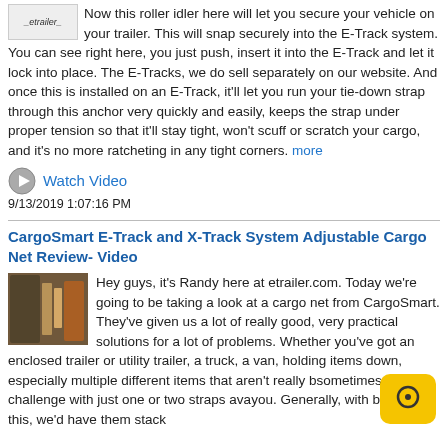[Figure (photo): etrailer logo thumbnail image floated left]
Now this roller idler here will let you secure your vehicle on your trailer. This will snap securely into the E-Track system. You can see right here, you just push, insert it into the E-Track and let it lock into place. The E-Tracks, we do sell separately on our website. And once this is installed on an E-Track, it'll let you run your tie-down strap through this anchor very quickly and easily, keeps the strap under proper tension so that it'll stay tight, won't scuff or scratch your cargo, and it's no more ratcheting in any tight corners. more
Watch Video
9/13/2019 1:07:16 PM
CargoSmart E-Track and X-Track System Adjustable Cargo Net Review- Video
[Figure (photo): Thumbnail image of cargo net product in a trailer]
Hey guys, it's Randy here at etrailer.com. Today we're going to be taking a look at a cargo net from CargoSmart. They've given us a lot of really good, very practical solutions for a lot of problems. Whether you've got an enclosed trailer or utility trailer, a truck, a van, holding items down, especially multiple different items that aren't really b... sometimes be a challenge with just one or two straps ava... you. Generally, with boxes like this, we'd have them stack...